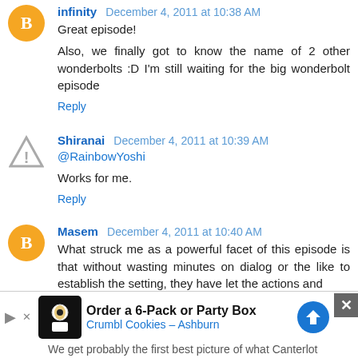Great episode!

Also, we finally got to know the name of 2 other wonderbolts :D I'm still waiting for the big wonderbolt episode
Reply
Shiranai December 4, 2011 at 10:39 AM
@RainbowYoshi
Works for me.
Reply
Masem December 4, 2011 at 10:40 AM
What struck me as a powerful facet of this episode is that without wasting minutes on dialog or the like to establish the setting, they have let the actions and visuals set the stage, and let us (particularly the more
We get probably the first best picture of what Canterlot